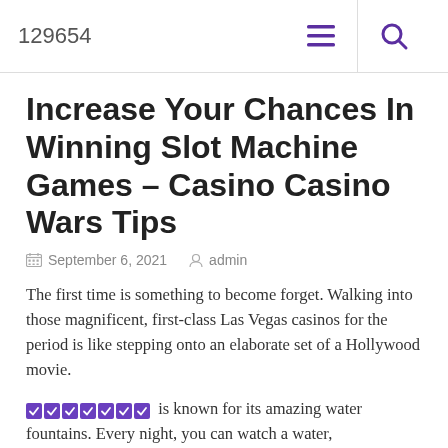129654
Increase Your Chances In Winning Slot Machine Games – Casino Casino Wars Tips
September 6, 2021   admin
The first time is something to become forget. Walking into those magnificent, first-class Las Vegas casinos for the period is like stepping onto an elaborate set of a Hollywood movie.
[purple boxes] is known for its amazing water fountains. Every night, you can watch a water,